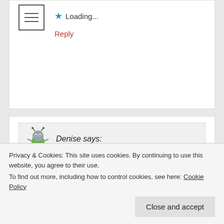Loading...
Reply
Denise says:
September 5, 2019 at 03:44
I just read an article that said they are on their third nanny in six weeks. Wow.
Loading...
Privacy & Cookies: This site uses cookies. By continuing to use this website, you agree to their use.
To find out more, including how to control cookies, see here: Cookie Policy
Close and accept